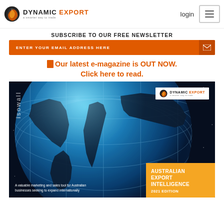DYNAMIC EXPORT — a smarter way to trade | login
SUBSCRIBE TO OUR FREE NEWSLETTER
ENTER YOUR EMAIL ADDRESS HERE
Our latest e-magazine is OUT NOW. Click here to read.
[Figure (other): Dynamic Export e-magazine cover showing a globe in space with the text 'Australian Export Intelligence 2021 Edition' and 'isowall' branding. Also shows Dynamic Export logo and text: A valuable marketing and sales tool for Australian businesses seeking to expand internationally]